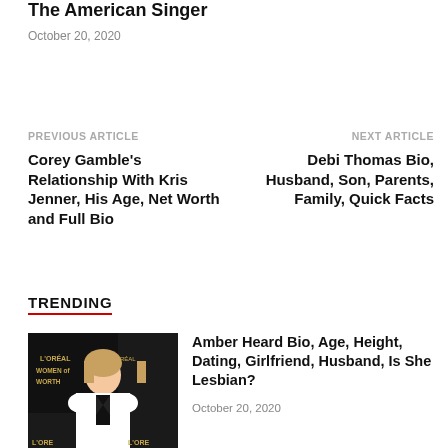The American Singer
October 20, 2020
PREVIOUS ARTICLE
Corey Gamble's Relationship With Kris Jenner, His Age, Net Worth and Full Bio
NEXT ARTICLE
Debi Thomas Bio, Husband, Son, Parents, Family, Quick Facts
TRENDING
[Figure (photo): Photo of Amber Heard at L'Oreal Women of Worth event, wearing white top with black tie]
Amber Heard Bio, Age, Height, Dating, Girlfriend, Husband, Is She Lesbian?
October 20, 2020